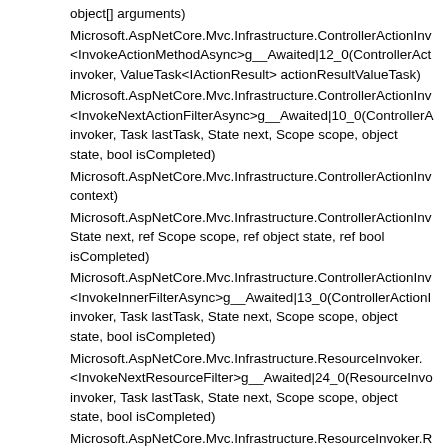object[] arguments)
Microsoft.AspNetCore.Mvc.Infrastructure.ControllerActionInv<InvokeActionMethodAsync>g__Awaited|12_0(ControllerAct invoker, ValueTask<IActionResult> actionResultValueTask)
Microsoft.AspNetCore.Mvc.Infrastructure.ControllerActionInv<InvokeNextActionFilterAsync>g__Awaited|10_0(ControllerA invoker, Task lastTask, State next, Scope scope, object state, bool isCompleted)
Microsoft.AspNetCore.Mvc.Infrastructure.ControllerActionInv context)
Microsoft.AspNetCore.Mvc.Infrastructure.ControllerActionInv State next, ref Scope scope, ref object state, ref bool isCompleted)
Microsoft.AspNetCore.Mvc.Infrastructure.ControllerActionInv<InvokeInnerFilterAsync>g__Awaited|13_0(ControllerActionI invoker, Task lastTask, State next, Scope scope, object state, bool isCompleted)
Microsoft.AspNetCore.Mvc.Infrastructure.ResourceInvoker.<InvokeNextResourceFilter>g__Awaited|24_0(ResourceInvo invoker, Task lastTask, State next, Scope scope, object state, bool isCompleted)
Microsoft.AspNetCore.Mvc.Infrastructure.ResourceInvoker.R context)
Microsoft.AspNetCore.Mvc.Infrastructure.ResourceInvoker.N State next, ref Scope scope, ref object state, ref bool